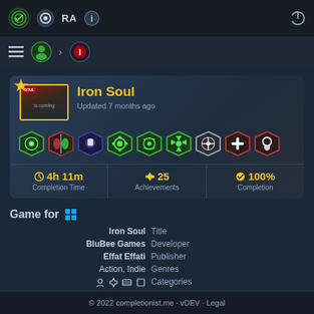Navigation bar with completionist app icons and power button
Breadcrumb navigation with menu icon and game icons
Iron Soul
Updated 7 months ago
[Figure (illustration): Row of 9 achievement badge icons in green, red/green, blue, green, green, green, green/white, red/white, red/white color schemes]
4h 11m Completion Time | 25 Achievements | 100% Completion
Game for Windows
| Key | Value |
| --- | --- |
| Iron Soul | Title |
| BluBee Games | Developer |
| Effat Effati | Publisher |
| Action, Indie | Genres |
|  | Categories |
| Released February 26, 2014 | Release |
| USD 4.99 | Price |
© 2022 completionist.me · vDEV · Legal